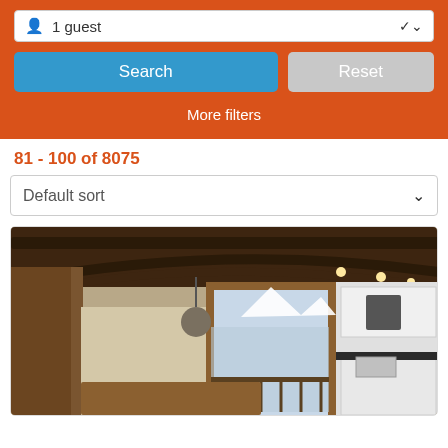1 guest
Search
Reset
More filters
81 - 100 of 8075
Default sort
[Figure (photo): Interior photo of a chalet-style room with wooden beam ceiling, dining table, pendant light, large window with mountain view, and modern kitchen with dark countertop and white cabinets.]